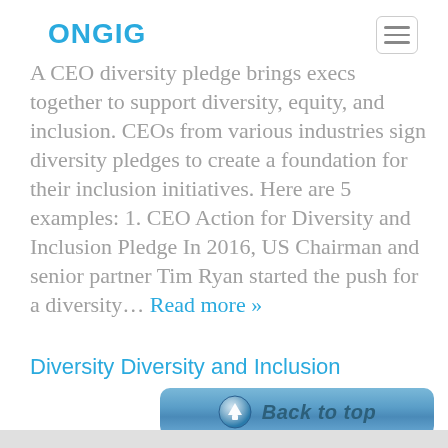ONGIG
A CEO diversity pledge brings execs together to support diversity, equity, and inclusion. CEOs from various industries sign diversity pledges to create a foundation for their inclusion initiatives. Here are 5 examples: 1. CEO Action for Diversity and Inclusion Pledge In 2016, US Chairman and senior partner Tim Ryan started the push for a diversity... Read more »
Diversity Diversity and Inclusion
[Figure (other): Back to top button with upward arrow icon]